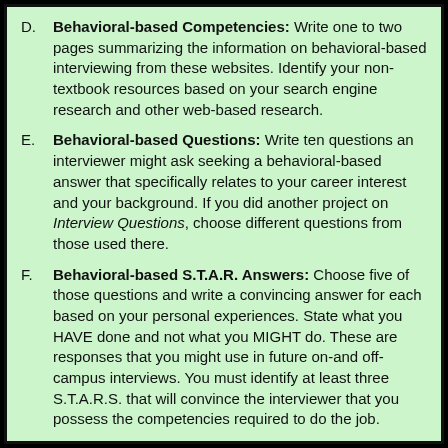D. Behavioral-based Competencies: Write one to two pages summarizing the information on behavioral-based interviewing from these websites. Identify your non-textbook resources based on your search engine research and other web-based research.
E. Behavioral-based Questions: Write ten questions an interviewer might ask seeking a behavioral-based answer that specifically relates to your career interest and your background. If you did another project on Interview Questions, choose different questions from those used there.
F. Behavioral-based S.T.A.R. Answers: Choose five of those questions and write a convincing answer for each based on your personal experiences. State what you HAVE done and not what you MIGHT do. These are responses that you might use in future on-and off-campus interviews. You must identify at least three S.T.A.R.S. that will convince the interviewer that you possess the competencies required to do the job.
Deliverables: Turn in to your Career Counselor:
Ø  Describe the concept of behavioral-based